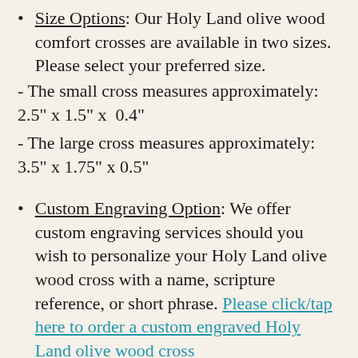Size Options: Our Holy Land olive wood comfort crosses are available in two sizes. Please select your preferred size.
- The small cross measures approximately: 2.5" x 1.5" x  0.4"
- The large cross measures approximately: 3.5" x 1.75" x 0.5"
Custom Engraving Option: We offer custom engraving services should you wish to personalize your Holy Land olive wood cross with a name, scripture reference, or short phrase. Please click/tap here to order a custom engraved Holy Land olive wood cross